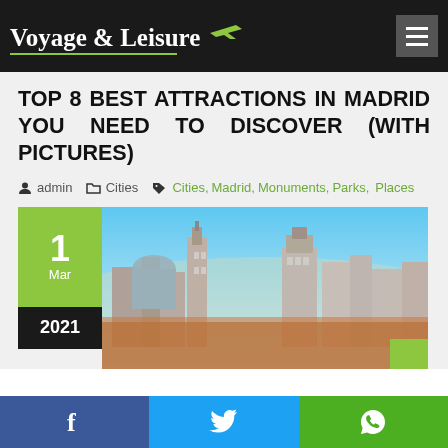Voyage & Leisure
TOP 8 BEST ATTRACTIONS IN MADRID YOU NEED TO DISCOVER (WITH PICTURES)
admin  Cities  Cities, Madrid, Monuments, Parks, Places
[Figure (photo): Madrid city skyline panoramic view with historic buildings under blue sky, with date overlay showing 1 Mar 2021]
Facebook Twitter WhatsApp social share buttons